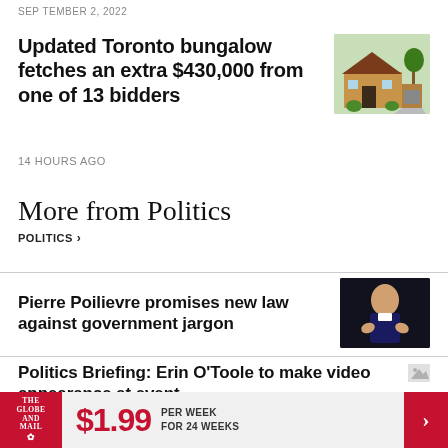SEP TEMBER 2, 2022
Updated Toronto bungalow fetches an extra $430,000 from one of 13 bidders
[Figure (photo): Exterior illustration/photo of a Toronto bungalow house]
14 HOURS AGO
More from Politics
POLITICS >
Pierre Poilievre promises new law against government jargon
[Figure (photo): Photo of Pierre Poilievre gesturing with hands on dark background]
Politics Briefing: Erin O'Toole to make video appearance at event
[Figure (photo): Small thumbnail image placeholder]
$1.99 PER WEEK FOR 24 WEEKS